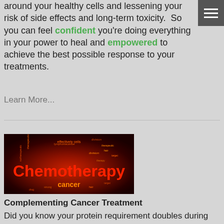around your healthy cells and lessening your risk of side effects and long-term toxicity. So you can feel confident you're doing everything in your power to heal and empowered to achieve the best possible response to your treatments.
Learn More...
[Figure (photo): Word cloud image with the word Chemotherapy in large red text and cancer in orange, with many related medical terms scattered around on a dark red radial background.]
Complementing Cancer Treatment
Did you know your protein requirement doubles during treatment and that eating enough protein can help